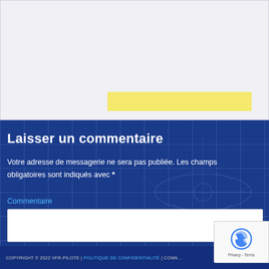[Figure (screenshot): Top white/light grey form area with a yellow input bar element visible near bottom]
Laisser un commentaire
Votre adresse de messagerie ne sera pas publiée. Les champs obligatoires sont indiqués avec *
Commentaire
[Figure (screenshot): White text input box for comment field]
[Figure (other): reCAPTCHA badge with Privacy - Terms]
COPYRIGHT © 2022 VFR-PILOTE | POLITIQUE DE CONFIDENTIALITÉ | CONN…